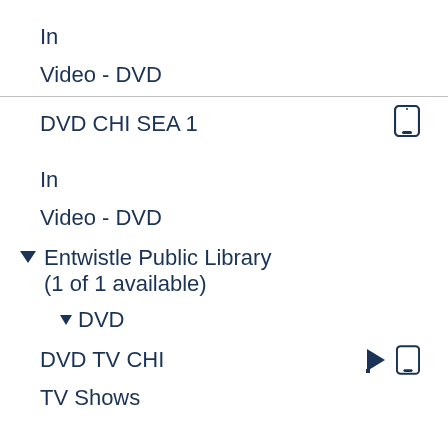In
Video - DVD
DVD CHI SEA 1
In
Video - DVD
▼ Entwistle Public Library (1 of 1 available)
▼ DVD
DVD TV CHI
TV Shows